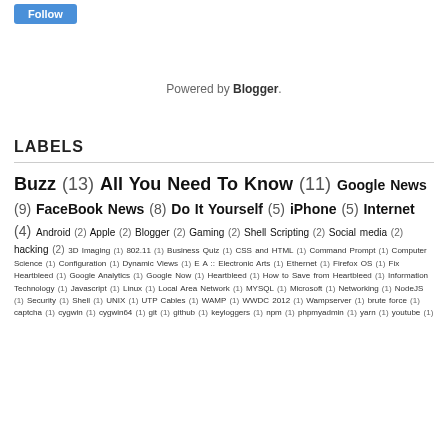[Figure (other): Follow button (blue)]
Powered by Blogger.
LABELS
Buzz (13) All You Need To Know (11) Google News (9) FaceBook News (8) Do It Yourself (5) iPhone (5) Internet (4) Android (2) Apple (2) Blogger (2) Gaming (2) Shell Scripting (2) Social media (2) hacking (2) 3D Imaging (1) 802.11 (1) Business Quiz (1) CSS and HTML (1) Command Prompt (1) Computer Science (1) Configuration (1) Dynamic Views (1) E A :: Electronic Arts (1) Ethernet (1) Firefox OS (1) Fix Heartbleed (1) Google Analytics (1) Google Now (1) Heartbleed (1) How to Save from Heartbleed (1) Information Technology (1) Javascript (1) Linux (1) Local Area Network (1) MYSQL (1) Microsoft (1) Networking (1) NodeJS (1) Security (1) Shell (1) UNIX (1) UTP Cables (1) WAMP (1) WWDC 2012 (1) Wampserver (1) brute force (1) captcha (1) cygwin (1) cygwin64 (1) git (1) github (1) keyloggers (1) npm (1) phpmyadmin (1) yarn (1) youtube (1)